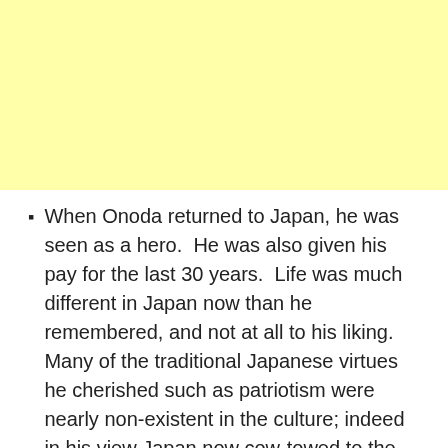[Figure (other): Yellow highlighted block at top of page]
When Onoda returned to Japan, he was seen as a hero.  He was also given his pay for the last 30 years.  Life was much different in Japan now than he remembered, and not at all to his liking.  Many of the traditional Japanese virtues he cherished such as patriotism were nearly non-existent in the culture; indeed in his view Japan now cow-towed to the rest of the world and had lost its pride and sense of itself.  So he moved to Brazil and used his pay to buy himself a ranch there and eventually married.
Onoda released an autobiography: No Surrender, My Thirty-Year War in which he details